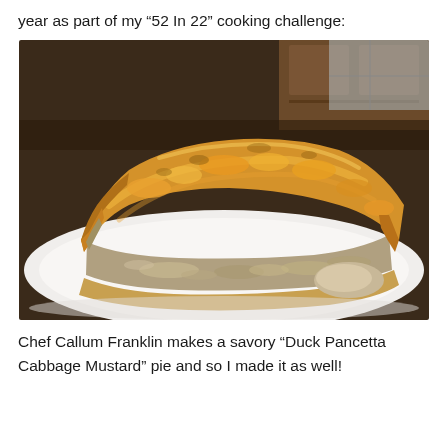year as part of my “52 In 22” cooking challenge:
[Figure (photo): A slice of golden-brown pastry pie with a flaky crust on top, revealing a savory duck pancetta cabbage mustard filling inside, served on a white plate. Kitchen background visible.]
Chef Callum Franklin makes a savory “Duck Pancetta Cabbage Mustard” pie and so I made it as well!